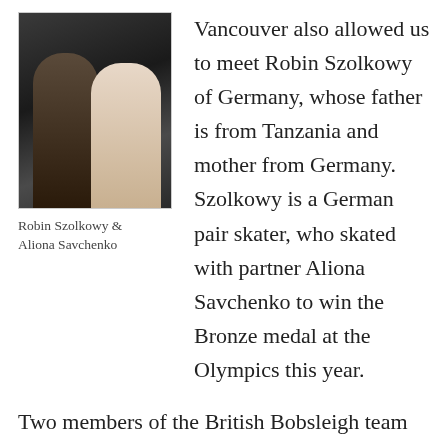[Figure (photo): Photo of Robin Szolkowy and Aliona Savchenko, a pairs figure skating duo, posing together.]
Robin Szolkowy & Aliona Savchenko
Vancouver also allowed us to meet Robin Szolkowy of Germany, whose father is from Tanzania and mother from Germany. Szolkowy is a German pair skater, who skated with partner Aliona Savchenko to win the Bronze medal at the Olympics this year.
Two members of the British Bobsleigh team are Henry Nwume and Lascelles Brown. A proud member of the female bobsleigh Canadian team is Shelley-Ann Brown; One of our brothers, Jarome Iginla, is also part of the Canadian ice-hockey team, which will probably take gold this year. Sister Nkeiruka Ezekh is a Russian